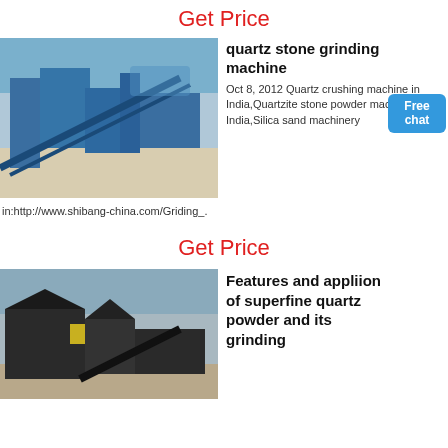Get Price
[Figure (photo): Industrial quartz stone crushing and grinding machinery at an outdoor facility with blue equipment and conveyors]
quartz stone grinding machine
Oct 8, 2012 Quartz crushing machine in India,Quartzite stone powder machine in India,Silica sand machinery in:http://www.shibang-china.com/Griding_.
Get Price
[Figure (photo): Industrial superfine quartz powder grinding facility with dark machinery and conveyors on a hillside]
Features and appliion of superfine quartz powder and its grinding